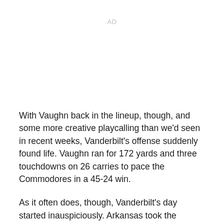AD
With Vaughn back in the lineup, though, and some more creative playcalling than we'd seen in recent weeks, Vanderbilt's offense suddenly found life. Vaughn ran for 172 yards and three touchdowns on 26 carries to pace the Commodores in a 45-24 win.
As it often does, though, Vanderbilt's day started inauspiciously. Arkansas took the opening kickoff and promptly went 75 yards in 9 plays to take an early 7-0 lead. But the Commodores answered right back with a